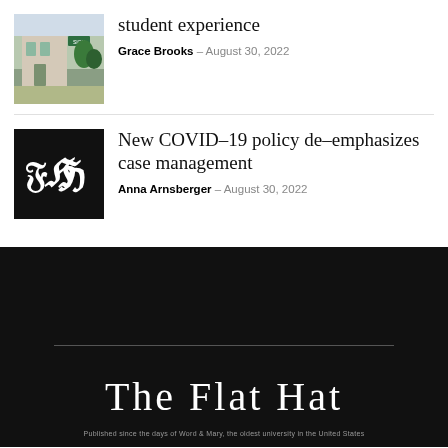[Figure (photo): Photo of a building entrance with green sign, outdoor setting]
student experience
Grace Brooks — August 30, 2022
[Figure (logo): The Flat Hat newspaper logo on black background, showing FH in gothic script]
New COVID-19 policy de-emphasizes case management
Anna Arnsberger — August 30, 2022
[Figure (logo): The Flat Hat newspaper masthead logo in gothic/blackletter font on black background]
Published since 1911 at William & Mary, the oldest university in the United States